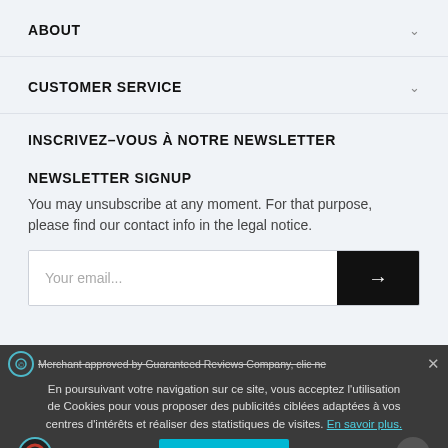ABOUT
CUSTOMER SERVICE
INSCRIVEZ–VOUS À NOTRE NEWSLETTER
NEWSLETTER SIGNUP
You may unsubscribe at any moment. For that purpose, please find our contact info in the legal notice.
Your email...
En poursuivant votre navigation sur ce site, vous acceptez l'utilisation de Cookies pour vous proposer des publicités ciblées adaptées à vos centres d'intérêts et réaliser des statistiques de visites. En savoir plus.
Accepter